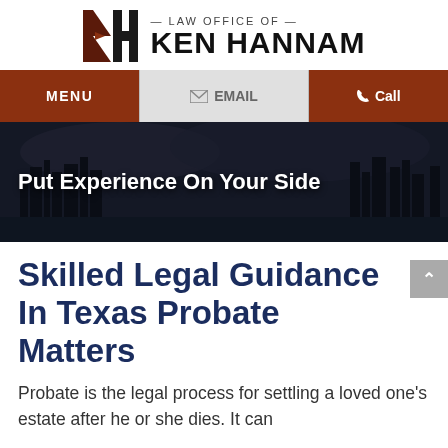[Figure (logo): Law Office of Ken Hannam logo with KH monogram icon in dark red/brown and black text]
MENU | EMAIL | Call
[Figure (photo): Dark cityscape hero banner with city skyline at night]
Put Experience On Your Side
Skilled Legal Guidance In Texas Probate Matters
Probate is the legal process for settling a loved one's estate after he or she dies. It can